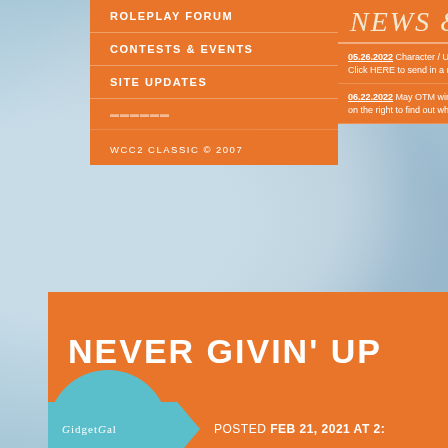NEWS &
ROLEPLAY FORUM
CONTESTS & EVENTS
SITE UPDATES
WCC2 CLASSIC © 2007
05.26.2022 Character / User ... Click HERE to send in a nomin...
06.22.2022 May OTM winners... on the right to find out who wo...
NEVER GIVIN' UP
« PREV
NEXT »
Private
GIDGETGAL
POSTED FEB 21, 2021 AT 2: